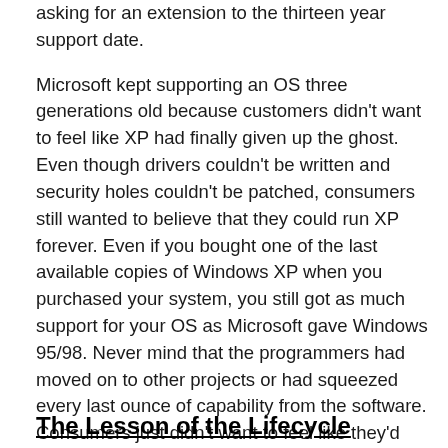asking for an extension to the thirteen year support date. Microsoft kept supporting an OS three generations old because customers didn't want to feel like XP had finally given up the ghost. Even though drivers couldn't be written and security holes couldn't be patched, consumers still wanted to believe that they could run XP forever. Even if you bought one of the last available copies of Windows XP when you purchased your system, you still got as much support for your OS as Microsoft gave Windows 95/98. Never mind that the programmers had moved on to other projects or had squeezed every last ounce of capability from the software. Consumers just didn't want to feel like they'd been stuck with a lemon more than a decade after it had been created.
The Lesson of the Lifecycle